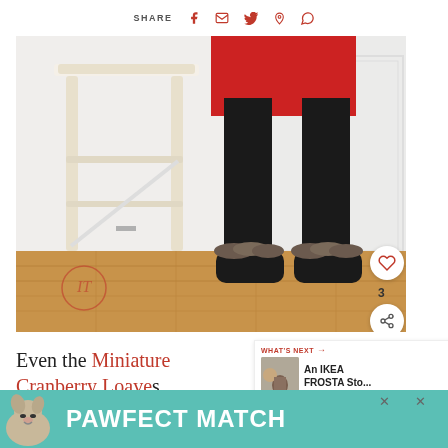SHARE [facebook] [email] [twitter] [pinterest] [whatsapp]
[Figure (photo): Child's lower body showing black leggings, red top, and fur-trimmed black slippers/clogs, standing next to a white wooden bar stool on a hardwood floor. Pink circular watermark logo visible in lower left of photo. Pink heart button (count: 3) and share button overlaid on right side of photo.]
Even the Miniature Cranberry Loaves rose much higher in the oven than they normally do.
WHAT'S NEXT → An IKEA FROSTA Sto...
[Figure (screenshot): PAWFECT MATCH advertisement banner with dog image on teal/green background]